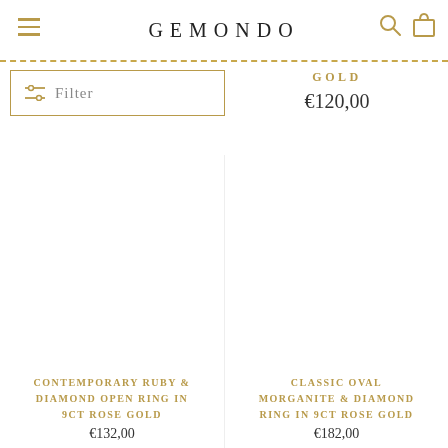GEMONDO
GOLD
€120,00
Filter
CONTEMPORARY RUBY & DIAMOND OPEN RING IN 9CT ROSE GOLD
€132,00
CLASSIC OVAL MORGANITE & DIAMOND RING IN 9CT ROSE GOLD
€182,00